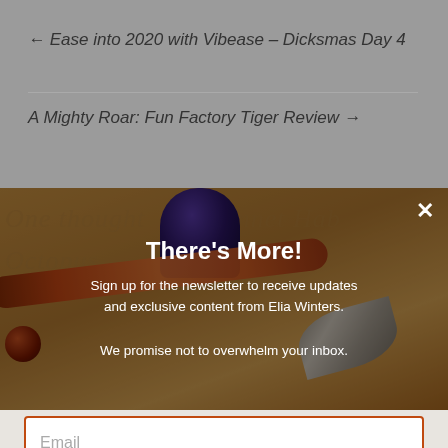← Ease into 2020 with Vibease – Dicksmas Day 4
A Mighty Roar: Fun Factory Tiger Review →
[Figure (photo): Photo of a decorative calligraphy pen with an orange/amber body resting on a wooden surface next to a dark blue ink bottle, with faded watermark text in the background including words like 'One thought', 'Octopus', 'Annet Hab']
There's More!
Sign up for the newsletter to receive updates and exclusive content from Elia Winters.

We promise not to overwhelm your inbox.
Email
SUBSCRIBE